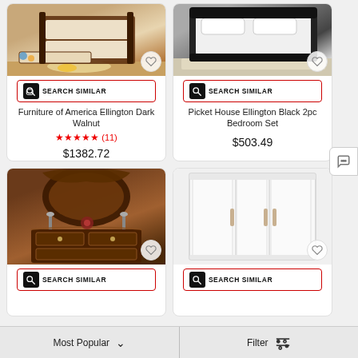[Figure (screenshot): Product card: Furniture of America Ellington Dark Walnut bunk bed with trundle, dark walnut finish, image showing bed with colorful rug]
SEARCH SIMILAR
Furniture of America Ellington Dark Walnut
★★★★★ (11)
$1382.72
[Figure (screenshot): Product card: Picket House Ellington Black 2pc Bedroom Set, black bed frame on white rug]
SEARCH SIMILAR
Picket House Ellington Black 2pc Bedroom Set
$503.49
[Figure (screenshot): Product card: ornate dark walnut dresser with mirror, Victorian style, candelabra]
SEARCH SIMILAR
[Figure (screenshot): Product card: white wardrobe/armoire with four doors and gold handles]
SEARCH SIMILAR
Most Popular
Filter